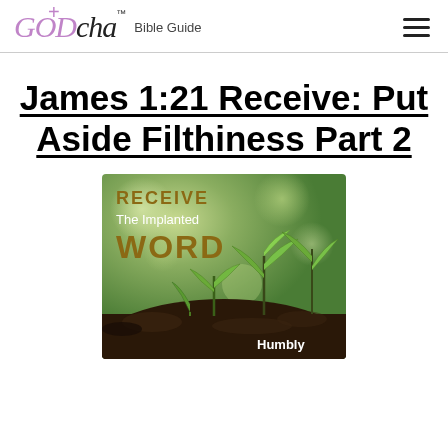GODcha™ Bible Guide
James 1:21 Receive: Put Aside Filthiness Part 2
[Figure (illustration): Illustration with seedlings sprouting from dark soil against a blurred green background. Text overlay reads: RECEIVE / The Implanted / WORD / Humbly]